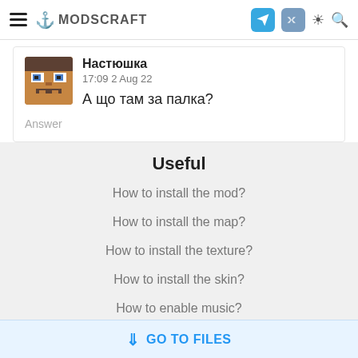MODSCRAFT
Настюшка
17:09 2 Aug 22
А що там за палка?
Answer
Useful
How to install the mod?
How to install the map?
How to install the texture?
How to install the skin?
How to enable music?
GO TO FILES